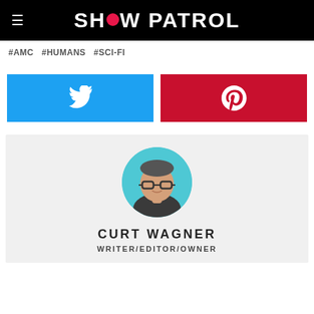SHOW PATROL
#AMC  #HUMANS  #SCI-FI
[Figure (other): Twitter share button (blue background with white Twitter bird icon)]
[Figure (other): Pinterest share button (red background with white Pinterest P icon)]
[Figure (photo): Circular profile photo of Curt Wagner against a teal/blue background, man with glasses holding finger to lips]
CURT WAGNER
WRITER/EDITOR/OWNER